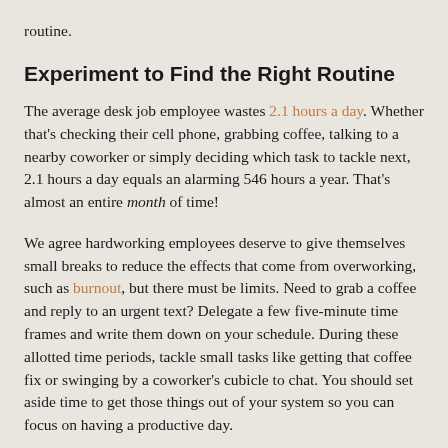routine.
Experiment to Find the Right Routine
The average desk job employee wastes 2.1 hours a day. Whether that's checking their cell phone, grabbing coffee, talking to a nearby coworker or simply deciding which task to tackle next, 2.1 hours a day equals an alarming 546 hours a year. That's almost an entire month of time!
We agree hardworking employees deserve to give themselves small breaks to reduce the effects that come from overworking, such as burnout, but there must be limits. Need to grab a coffee and reply to an urgent text? Delegate a few five-minute time frames and write them down on your schedule. During these allotted time periods, tackle small tasks like getting that coffee fix or swinging by a coworker's cubicle to chat. You should set aside time to get those things out of your system so you can focus on having a productive day.
Learning to schedule your tasks more efficiently takes a little